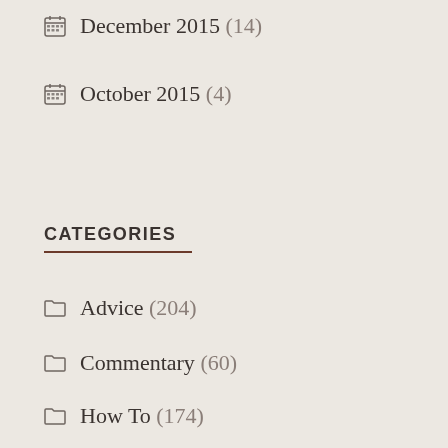December 2015 (14)
October 2015 (4)
CATEGORIES
Advice (204)
Commentary (60)
How To (174)
Uncategorized (6)